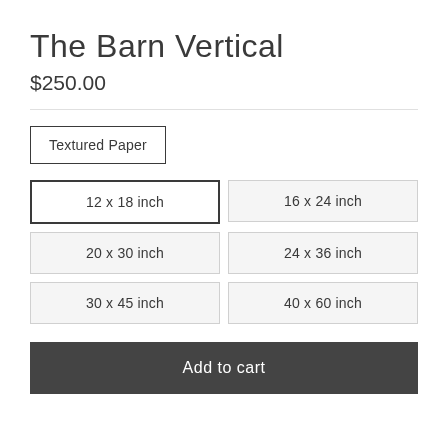The Barn Vertical
$250.00
Textured Paper
12 x 18 inch
16 x 24 inch
20 x 30 inch
24 x 36 inch
30 x 45 inch
40 x 60 inch
Add to cart